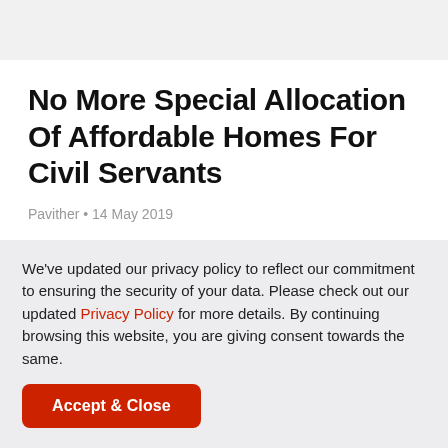No More Special Allocation Of Affordable Homes For Civil Servants
Pavither • 14 May 2019
[Figure (photo): Blurred image showing two Malaysian government coat of arms logos on a grey/white background]
We've updated our privacy policy to reflect our commitment to ensuring the security of your data. Please check out our updated Privacy Policy for more details. By continuing browsing this website, you are giving consent towards the same.